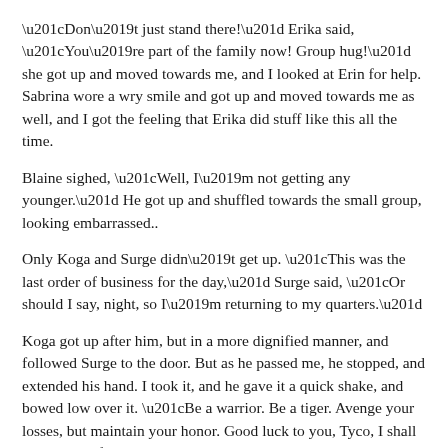“Don’t just stand there!” Erika said, “You’re part of the family now! Group hug!” she got up and moved towards me, and I looked at Erin for help. Sabrina wore a wry smile and got up and moved towards me as well, and I got the feeling that Erika did stuff like this all the time.
Blaine sighed, “Well, I’m not getting any younger.” He got up and shuffled towards the small group, looking embarrassed..
Only Koga and Surge didn’t get up. “This was the last order of business for the day,” Surge said, “Or should I say, night, so I’m returning to my quarters.”
Koga got up after him, but in a more dignified manner, and followed Surge to the door. But as he passed me, he stopped, and extended his hand. I took it, and he gave it a quick shake, and bowed low over it. “Be a warrior. Be a tiger. Avenge your losses, but maintain your honor. Good luck to you, Tyco, I shall keep track of your progress.”
With a final bow, he turned and left the room. Erin punched me in the arm, “Did you hear that? Koga’s gonna be keeping track of you! You’ve impressed him!”